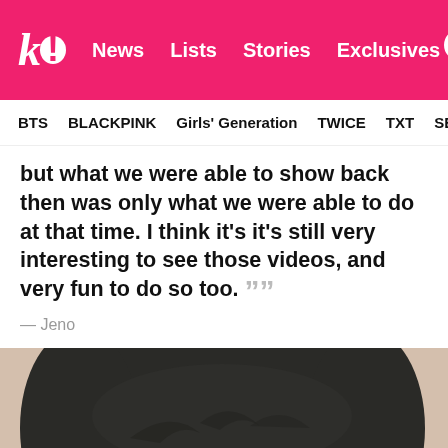k! News Lists Stories Exclusives [search]
BTS   BLACKPINK   Girls' Generation   TWICE   TXT   SEVE...
but what we were able to show back then was only what we were able to do at that time. I think it's it's still very interesting to see those videos, and very fun to do so too. ””
— Jeno
[Figure (photo): Close-up photo of a young man (Jeno) with dark tousled hair, looking slightly downward, against a light beige/pink background.]